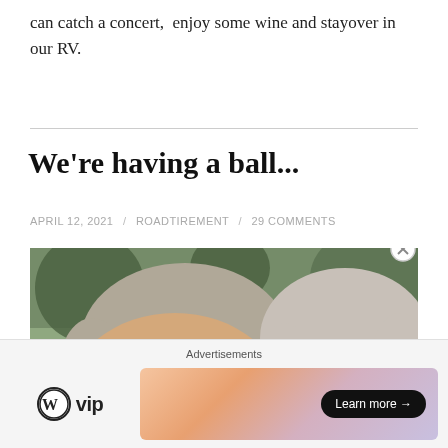can catch a concert,  enjoy some wine and stayover in our RV.
We're having a ball...
APRIL 12, 2021 / ROADTIREMENT / 29 COMMENTS
[Figure (photo): Close-up selfie photo of an older couple with gray hair and glasses, outdoors with trees in the background.]
Advertisements
[Figure (logo): WordPress VIP logo with a Learn more button and a gradient advertisement banner.]